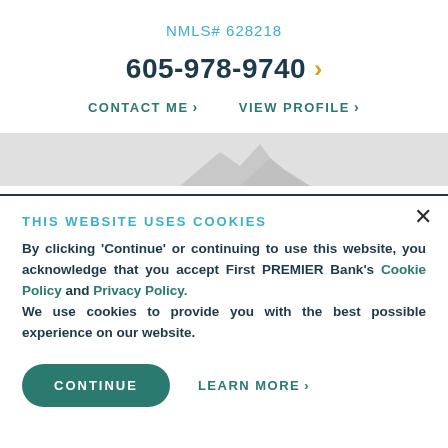NMLS# 628218
605-978-9740
CONTACT ME  >
VIEW PROFILE  >
[Figure (photo): Gray banner with partial image of mountains or landscape]
THIS WEBSITE USES COOKIES
By clicking 'Continue' or continuing to use this website, you acknowledge that you accept First PREMIER Bank's Cookie Policy and Privacy Policy. We use cookies to provide you with the best possible experience on our website.
CONTINUE
LEARN MORE  >